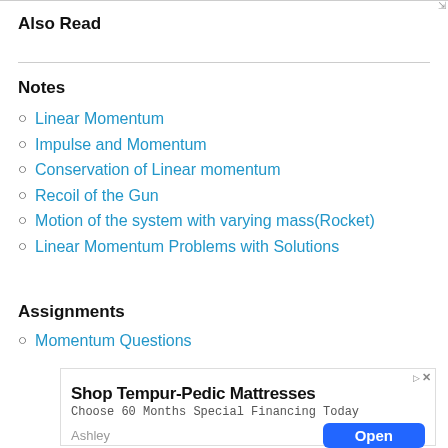Also Read
Notes
Linear Momentum
Impulse and Momentum
Conservation of Linear momentum
Recoil of the Gun
Motion of the system with varying mass(Rocket)
Linear Momentum Problems with Solutions
Assignments
Momentum Questions
[Figure (other): Advertisement for Shop Tempur-Pedic Mattresses. Subtitle: Choose 60 Months Special Financing Today. Brand: Ashley. Button: Open]